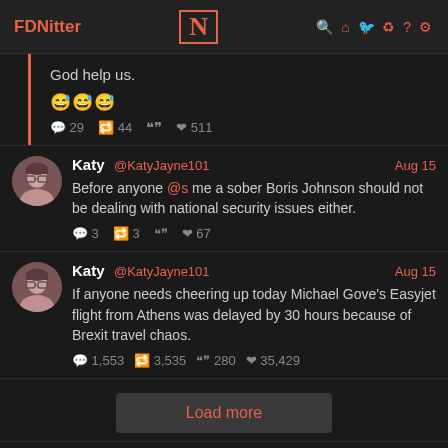FDNitter N
God help us.
😅😅😅
💬 29  🔁 44  ❝❞  ❤ 511
Katy @KatyJayne101 Aug 15
Before anyone @s me a sober Boris Johnson should not be dealing with national security issues either.
💬 3  🔁 3  ❝❞  ❤ 67
Katy @KatyJayne101 Aug 15
If anyone needs cheering up today Michael Gove's Easyjet flight from Athens was delayed by 30 hours because of Brexit travel chaos.
💬 1,553  🔁 3,535  ❝❞ 280  ❤ 35,429
Load more